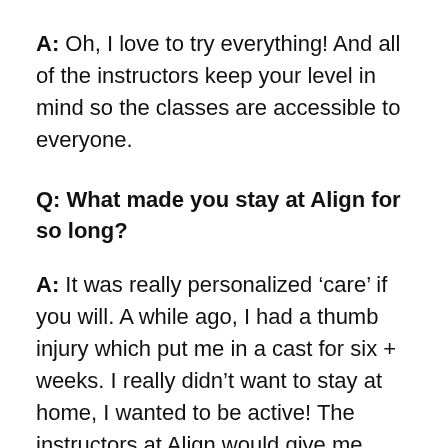A: Oh, I love to try everything! And all of the instructors keep your level in mind so the classes are accessible to everyone.
Q: What made you stay at Align for so long?
A: It was really personalized ‘care’ if you will. A while ago, I had a thumb injury which put me in a cast for six + weeks. I really didn’t want to stay at home, I wanted to be active! The instructors at Align would give me adaptations for the classes so that